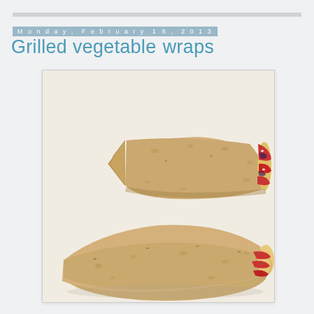Monday, February 18, 2013
Grilled vegetable wraps
[Figure (photo): Two grilled vegetable wraps cut in half and stacked, showing filling of red peppers, eggplant, feta and herbs inside whole wheat tortillas, on white parchment paper]